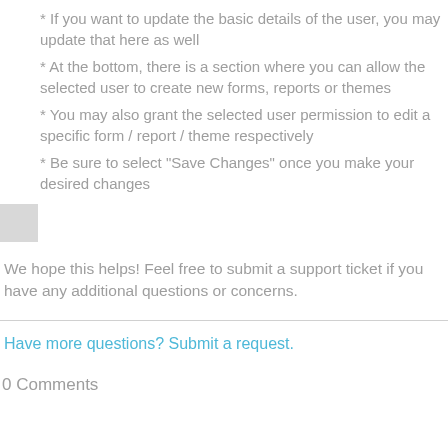* If you want to update the basic details of the user, you may update that here as well
* At the bottom, there is a section where you can allow the selected user to create new forms, reports or themes
* You may also grant the selected user permission to edit a specific form / report / theme respectively
* Be sure to select "Save Changes" once you make your desired changes
We hope this helps! Feel free to submit a support ticket if you have any additional questions or concerns.
Have more questions? Submit a request.
0 Comments